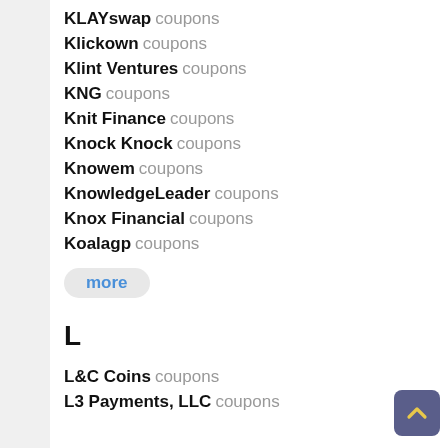KLAYswap coupons
Klickown coupons
Klint Ventures coupons
KNG coupons
Knit Finance coupons
Knock Knock coupons
Knowem coupons
KnowledgeLeader coupons
Knox Financial coupons
Koalagp coupons
more
L
L&C Coins coupons
L3 Payments, LLC coupons